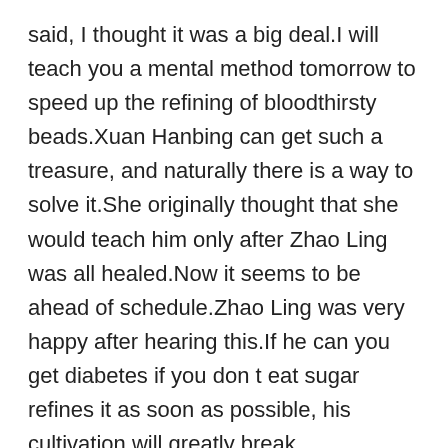said, I thought it was a big deal.I will teach you a mental method tomorrow to speed up the refining of bloodthirsty beads.Xuan Hanbing can get such a treasure, and naturally there is a way to solve it.She originally thought that she would teach him only after Zhao Ling was all healed.Now it seems to be ahead of schedule.Zhao Ling was very happy after hearing this.If he can you get diabetes if you don t eat sugar refines it as soon as possible, his cultivation will greatly break through.Otherwise, how can he deal with the demons.Early the next morning, Xuan Hanbing took Zhao Ling to the sacred mountain behind the temple.I saw Xuan Hanbing clasped her when do people get type 2 diabetes hands together, a golden light blooming in her palm, she recited French one after another golden French, and rushed towards Zhao Ling like a Hong bell.
After all, she was also drawn by the turbulent flow of spiritual power, so she can not remember many things.